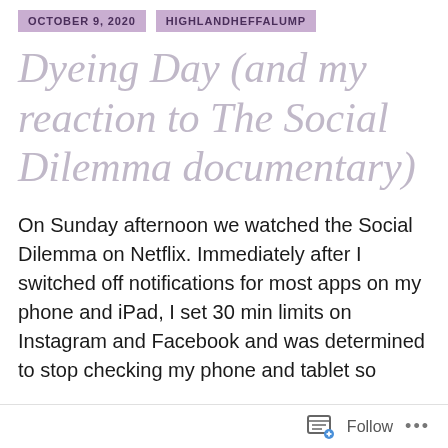OCTOBER 9, 2020   HIGHLANDHEFFALUMP
Dyeing Day (and my reaction to The Social Dilemma documentary)
On Sunday afternoon we watched the Social Dilemma on Netflix. Immediately after I switched off notifications for most apps on my phone and iPad, I set 30 min limits on Instagram and Facebook and was determined to stop checking my phone and tablet so
Follow ...